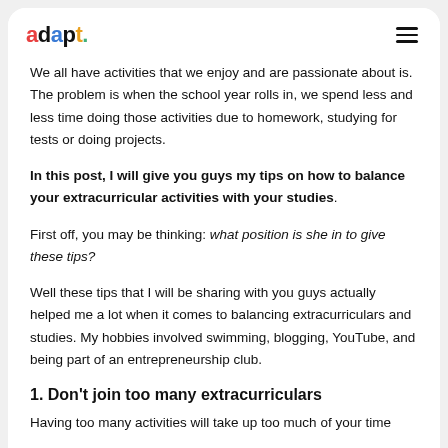adapt
We all have activities that we enjoy and are passionate about is. The problem is when the school year rolls in, we spend less and less time doing those activities due to homework, studying for tests or doing projects.
In this post, I will give you guys my tips on how to balance your extracurricular activities with your studies.
First off, you may be thinking: what position is she in to give these tips?
Well these tips that I will be sharing with you guys actually helped me a lot when it comes to balancing extracurriculars and studies. My hobbies involved swimming, blogging, YouTube, and being part of an entrepreneurship club.
1. Don't join too many extracurriculars
Having too many activities will take up too much of your time